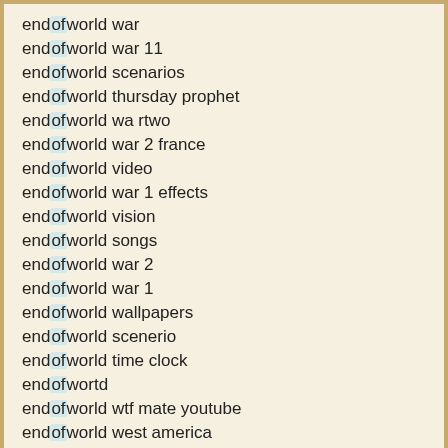end of world war
end of world war 11
end of world scenarios
end of world thursday prophet
end of world wa rtwo
end of world war 2 france
end of world video
end of world war 1 effects
end of world vision
end of world songs
end of world war 2
end of world war 1
end of world wallpapers
end of world scenerio
end of world time clock
end of wortd
end of world wtf mate youtube
end of world west america